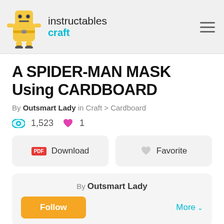instructables craft
A SPIDER-MAN MASK Using CARDBOARD
By Outsmart Lady in Craft > Cardboard
1,523 views  1 favorite
Download  Favorite
By Outsmart Lady
Follow
More
Cardboard...